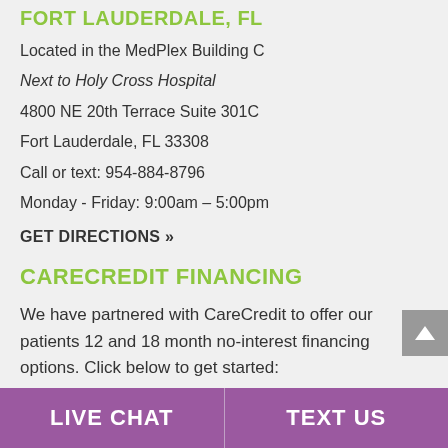FORT LAUDERDALE, FL
Located in the MedPlex Building C
Next to Holy Cross Hospital
4800 NE 20th Terrace Suite 301C
Fort Lauderdale, FL 33308
Call or text: 954-884-8796
Monday - Friday: 9:00am – 5:00pm
GET DIRECTIONS »
CARECREDIT FINANCING
We have partnered with CareCredit to offer our patients 12 and 18 month no-interest financing options. Click below to get started:
LIVE CHAT | TEXT US